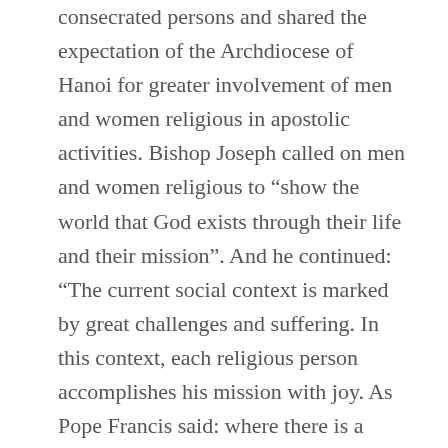consecrated persons and shared the expectation of the Archdiocese of Hanoi for greater involvement of men and women religious in apostolic activities. Bishop Joseph called on men and women religious to “show the world that God exists through their life and their mission”. And he continued: “The current social context is marked by great challenges and suffering. In this context, each religious person accomplishes his mission with joy. As Pope Francis said: where there is a consecrated person, there is joy”. The clerics have made a valuable contribution in times of pandemic, Archbishop Marek Zalewski, Nonresident Apostolic Nuncio in Vietnam, recalled in another meeting at the Pastoral Center of the Archdiocese of Hochiminh during one of his pastoral visits. The Nuncio mentioned the many priests, religious and